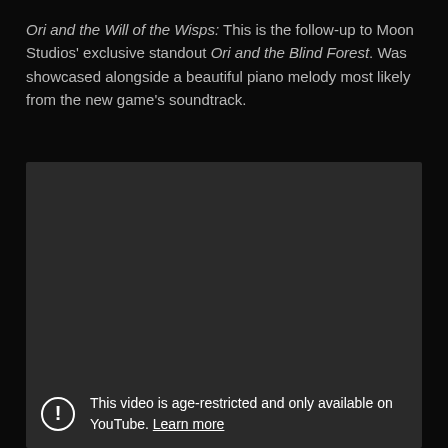Ori and the Will of the Wisps: This is the follow-up to Moon Studios' exclusive standout Ori and the Blind Forest. Was showcased alongside a beautiful piano melody most likely from the new game's soundtrack.
[Figure (screenshot): A dark grey video embed placeholder showing an age restriction warning message with an exclamation icon and text: 'This video is age-restricted and only available on YouTube. Learn more']